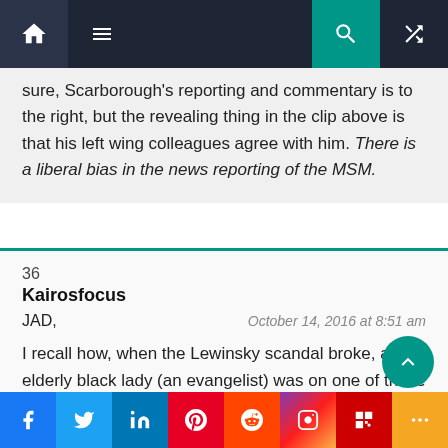Navigation bar with home, menu, search, and shuffle icons
sure, Scarborough's reporting and commentary is to the right, but the revealing thing in the clip above is that his left wing colleagues agree with him. There is a liberal bias in the news reporting of the MSM.
36
Kairosfocus
JAD,
October 14, 2016 at 8:51 am

I recall how, when the Lewinsky scandal broke, an elderly black lady (an evangelist) was on one of those talking head shows.
Social share bar: Facebook, Twitter, LinkedIn, Pinterest, Reddit, Instagram, Flipboard, More